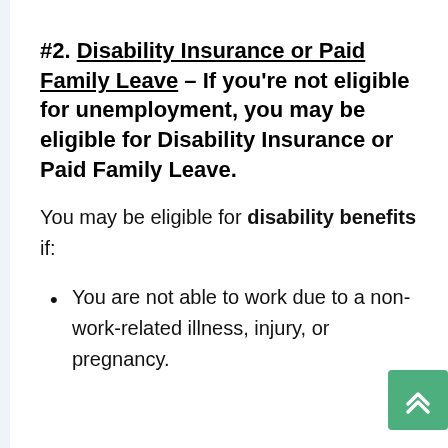#2. Disability Insurance or Paid Family Leave – If you're not eligible for unemployment, you may be eligible for Disability Insurance or Paid Family Leave.
You may be eligible for disability benefits if:
You are not able to work due to a non-work-related illness, injury, or pregnancy.